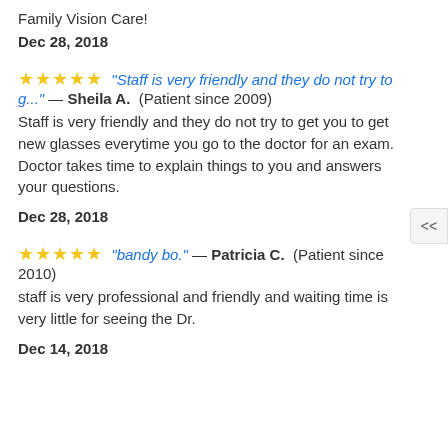Family Vision Care!
Dec 28, 2018
"Staff is very friendly and they do not try to g..." — Sheila A. (Patient since 2009) Staff is very friendly and they do not try to get you to get new glasses everytime you go to the doctor for an exam. Doctor takes time to explain things to you and answers your questions.
Dec 28, 2018
"bandy bo." — Patricia C. (Patient since 2010) staff is very professional and friendly and waiting time is very little for seeing the Dr.
Dec 14, 2018